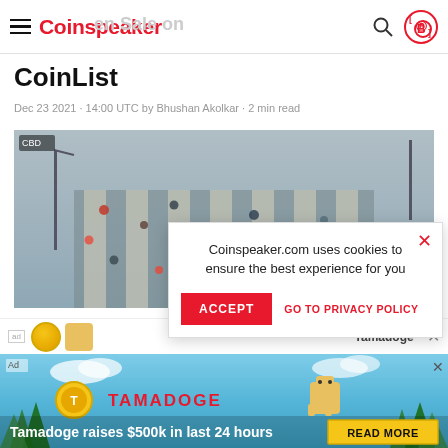Coinspeaker
CoinList
Dec 23 2021 · 14:00 UTC by Bhushan Akolkar · 2 min read
[Figure (photo): Aerial view of a busy pedestrian crossing with many people walking]
Coinspeaker.com uses cookies to ensure the best experience for you
ACCEPT   GO TO PRIVACY POLICY
[Figure (infographic): Tamadoge ad banner showing coin logo, Tamadoge text logo, pixel dog character, with text 'Tamadoge raises $500k in last 24 hours' and READ MORE button]